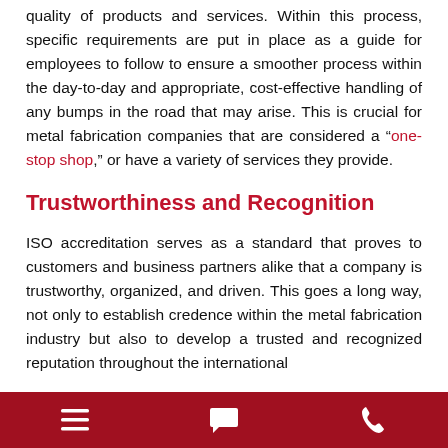quality of products and services. Within this process, specific requirements are put in place as a guide for employees to follow to ensure a smoother process within the day-to-day and appropriate, cost-effective handling of any bumps in the road that may arise. This is crucial for metal fabrication companies that are considered a "one-stop shop," or have a variety of services they provide.
Trustworthiness and Recognition
ISO accreditation serves as a standard that proves to customers and business partners alike that a company is trustworthy, organized, and driven. This goes a long way, not only to establish credence within the metal fabrication industry but also to develop a trusted and recognized reputation throughout the international
navigation icons: menu, chat, phone